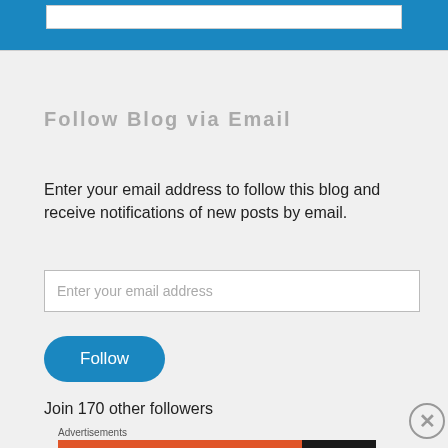[Figure (screenshot): Blue header bar with white input box at top of page]
Follow Blog via Email
Enter your email address to follow this blog and receive notifications of new posts by email.
[Figure (screenshot): Email address input field with placeholder text 'Enter your email address']
[Figure (screenshot): Blue rounded Follow button]
Join 170 other followers
Advertisements
[Figure (screenshot): DuckDuckGo advertisement banner: Search, browse, and email with more privacy. All in One Free App]